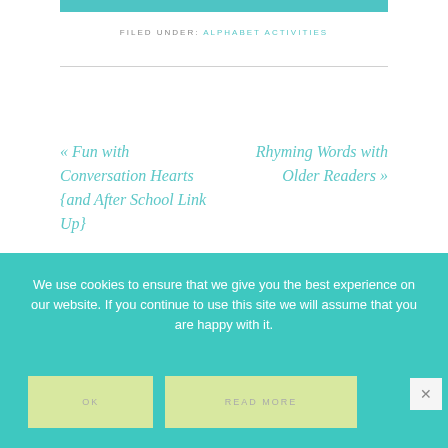FILED UNDER: ALPHABET ACTIVITIES
« Fun with Conversation Hearts {and After School Link Up}
Rhyming Words with Older Readers »
We use cookies to ensure that we give you the best experience on our website. If you continue to use this site we will assume that you are happy with it.